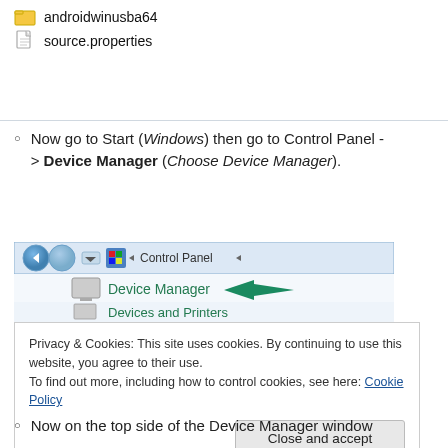androidwinusba64
source.properties
Now go to Start (Windows) then go to Control Panel -> Device Manager (Choose Device Manager).
[Figure (screenshot): Windows Control Panel screenshot showing Device Manager option with a teal arrow pointing to it, and Devices and Printers below it. A navigation bar shows 'Control Panel' path at the top.]
Privacy & Cookies: This site uses cookies. By continuing to use this website, you agree to their use.
To find out more, including how to control cookies, see here: Cookie Policy
Now on the top side of the Device Manager window